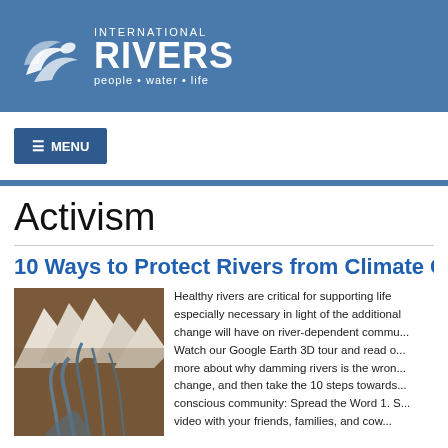[Figure (logo): International Rivers logo with bird/river icon and tagline 'people • water • life' on blue background]
[Figure (other): Navigation menu button with hamburger icon labeled MENU on white bar]
Activism
10 Ways to Protect Rivers from Climate Cha...
[Figure (photo): Aerial satellite photo of glacial rivers and snow-capped mountains with river deltas]
Healthy rivers are critical for supporting life especially necessary in light of the additional change will have on river-dependent commu... Watch our Google Earth 3D tour and read o... more about why damming rivers is the wron... change, and then take the 10 steps towards... conscious community: Spread the Word 1. S... video with your friends, families, and cow...